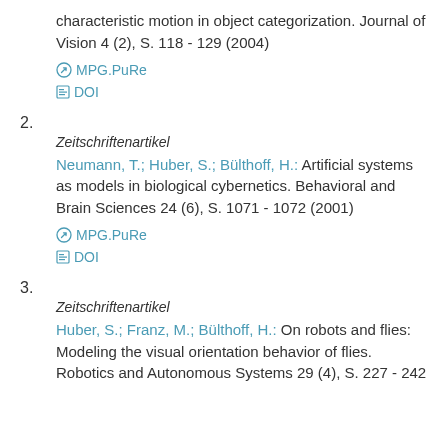characteristic motion in object categorization. Journal of Vision 4 (2), S. 118 - 129 (2004)
MPG.PuRe
DOI
2.
Zeitschriftenartikel
Neumann, T.; Huber, S.; Bülthoff, H.: Artificial systems as models in biological cybernetics. Behavioral and Brain Sciences 24 (6), S. 1071 - 1072 (2001)
MPG.PuRe
DOI
3.
Zeitschriftenartikel
Huber, S.; Franz, M.; Bülthoff, H.: On robots and flies: Modeling the visual orientation behavior of flies. Robotics and Autonomous Systems 29 (4), S. 227 - 242